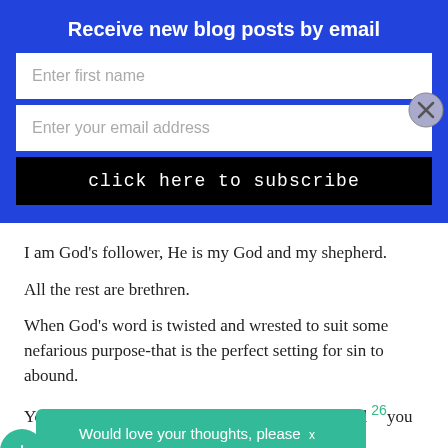Receive new blog posts by email
Enter first name
Enter your email address
click here to subscribe
I am God's follower, He is my God and my shepherd.
All the rest are brethren.
When God's word is twisted and wrested to suit some nefarious purpose-that is the perfect setting for sin to abound.
You stand firm in Christ. Yes. You stand firm. And 26you stand the most firm when you do not allow my... you are and... que and
Would love your thoughts, please x comment.